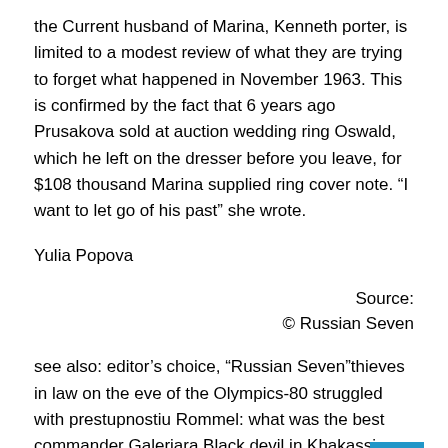the Current husband of Marina, Kenneth porter, is limited to a modest review of what they are trying to forget what happened in November 1963. This is confirmed by the fact that 6 years ago Prusakova sold at auction wedding ring Oswald, which he left on the dresser before you leave, for $108 thousand Marina supplied ring cover note. “I want to let go of his past” she wrote.
Yulia Popova
Source:
© Russian Seven
see also: editor’s choice, “Russian Seven”thieves in law on the eve of the Olympics-80 struggled with prestupnostiu Rommel: what was the best commander Galeriara Black devil in Khakassia: the most mysterious place in Sibiryak to